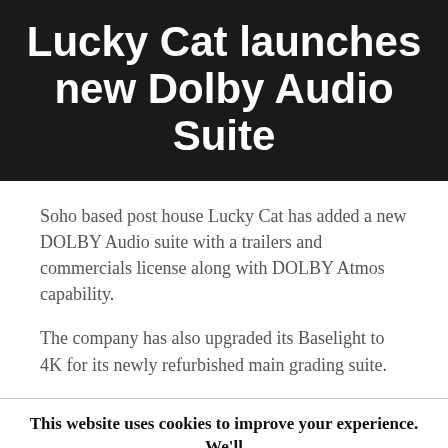Lucky Cat launches new Dolby Audio Suite
Soho based post house Lucky Cat has added a new DOLBY Audio suite with a trailers and commercials license along with DOLBY Atmos capability.
The company has also upgraded its Baselight to 4K for its newly refurbished main grading suite.
This website uses cookies to improve your experience. We'll assume you're ok with this. I've read this